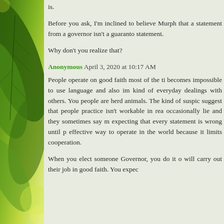[Figure (photo): Green leaves on a plant against a blurred green and yellow background, serving as a decorative left panel.]
is.
Before you ask, I'm inclined to believe Murph that a statement from a governor isn't a guarantee statement.
Why don't you realize that?
Anonymous April 3, 2020 at 10:17 AM
People operate on good faith most of the ti becomes impossible to use language and also im kind of everyday dealings with others. You people are herd animals. The kind of suspic suggest that people practice isn't workable in rea occasionally lie and they sometimes say m expecting that every statement is wrong until p effective way to operate in the world because it limits cooperation.
When you elect someone Governor, you do it o will carry out their job in good faith. You expec